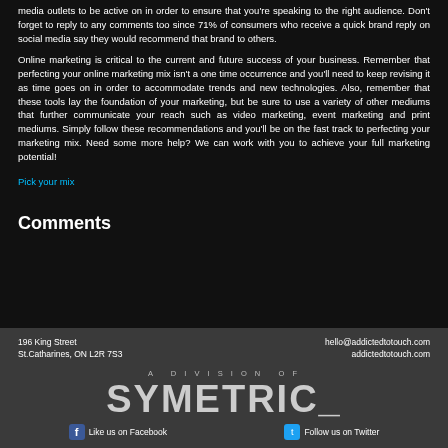media outlets to be active on in order to ensure that you're speaking to the right audience. Don't forget to reply to any comments too since 71% of consumers who receive a quick brand reply on social media say they would recommend that brand to others.
Online marketing is critical to the current and future success of your business. Remember that perfecting your online marketing mix isn't a one time occurrence and you'll need to keep revising it as time goes on in order to accommodate trends and new technologies. Also, remember that these tools lay the foundation of your marketing, but be sure to use a variety of other mediums that further communicate your reach such as video marketing, event marketing and print mediums. Simply follow these recommendations and you'll be on the fast track to perfecting your marketing mix. Need some more help? We can work with you to achieve your full marketing potential!
Pick your mix
Comments
196 King Street
St.Catharines, ON L2R 7S3
hello@addictedtotouch.com
addictedtotouch.com
A DIVISION OF
SYMETRIC_
Like us on Facebook
Follow us on Twitter